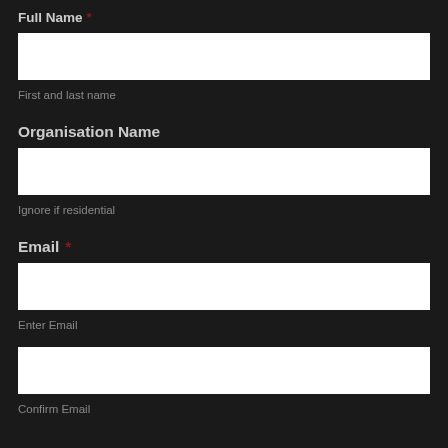Full Name *
[Figure (other): Text input field for Full Name]
First and last name
Organisation Name
[Figure (other): Text input field for Organisation Name]
Ignore if residential
Email *
[Figure (other): Text input field for Email]
Enter Email
[Figure (other): Text input field for Confirm Email]
Confirm Email